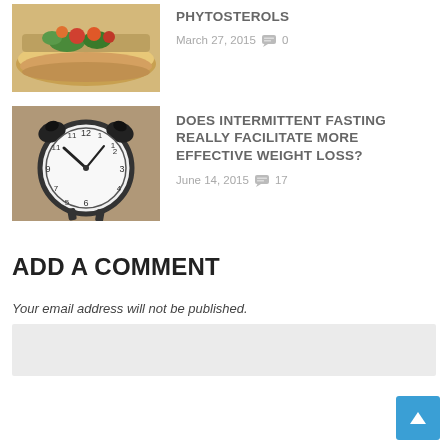[Figure (photo): Photo of a colorful food sandwich with vegetables and tomatoes on a plate]
PHYTOSTEROLS
March 27, 2015  0
[Figure (photo): Photo of a vintage alarm clock showing approximately 10:10 time]
DOES INTERMITTENT FASTING REALLY FACILITATE MORE EFFECTIVE WEIGHT LOSS?
June 14, 2015  17
ADD A COMMENT
Your email address will not be published.